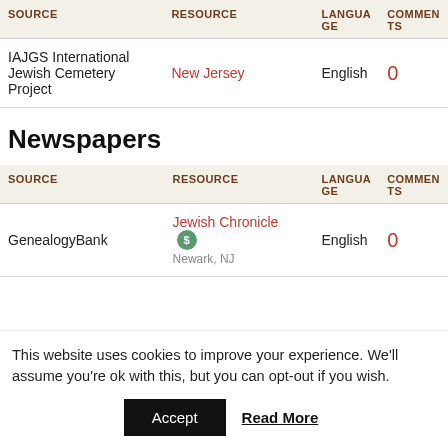| SOURCE | RESOURCE | LANGUAGE | COMMENTS |
| --- | --- | --- | --- |
| IAJGS International Jewish Cemetery Project | New Jersey | English | 0 |
Newspapers
| SOURCE | RESOURCE | LANGUAGE | COMMENTS |
| --- | --- | --- | --- |
| GenealogyBank | Jewish Chronicle $ Newark, NJ | English | 0 |
This website uses cookies to improve your experience. We'll assume you're ok with this, but you can opt-out if you wish.